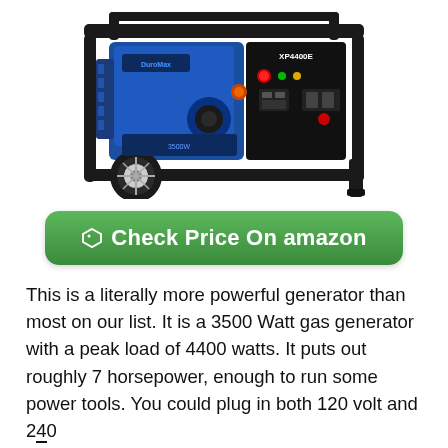[Figure (photo): Photo of a DuroMax XP4400E portable generator — black frame with blue engine cover, control panel with outlets and switches, large wheels, and folding handles.]
Check Price On amazon
This is a literally more powerful generator than most on our list. It is a 3500 Watt gas generator with a peak load of 4400 watts. It puts out roughly 7 horsepower, enough to run some power tools. You could plug in both 120 volt and 240...